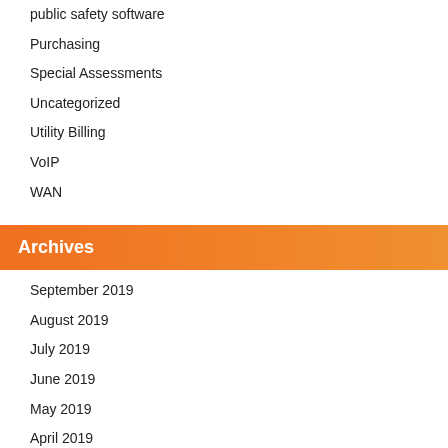public safety software
Purchasing
Special Assessments
Uncategorized
Utility Billing
VoIP
WAN
Archives
September 2019
August 2019
July 2019
June 2019
May 2019
April 2019
March 2019
February 2019